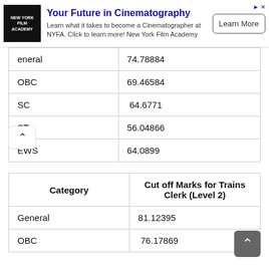[Figure (screenshot): Advertisement banner for New York Film Academy (NYFA) - 'Your Future in Cinematography' with logo, description text, and Learn More button]
|  |  |
| --- | --- |
| General | 74.78884 |
| OBC | 69.46584 |
| SC | 64.6771 |
| ST | 56.04866 |
| EWS | 64.0899 |
| Category | Cut off Marks for Trains Clerk (Level 2) |
| --- | --- |
| General | 81.12395 |
| OBC | 76.17869 |